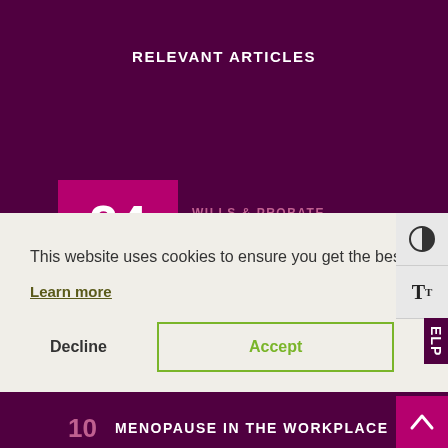RELEVANT ARTICLES
WILLS & PROBATE
AM I LEGALLY ENTITLED TO SEE THE WILL?
24 AUG
This website uses cookies to ensure you get the best experience on our website.
Learn more
Decline
Accept
MENOPAUSE IN THE WORKPLACE